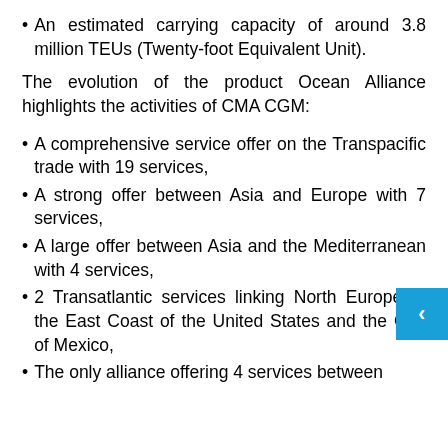An estimated carrying capacity of around 3.8 million TEUs (Twenty-foot Equivalent Unit).
The evolution of the product Ocean Alliance highlights the activities of CMA CGM:
A comprehensive service offer on the Transpacific trade with 19 services,
A strong offer between Asia and Europe with 7 services,
A large offer between Asia and the Mediterranean with 4 services,
2 Transatlantic services linking North Europe to the East Coast of the United States and the Gulf of Mexico,
The only alliance offering 4 services between